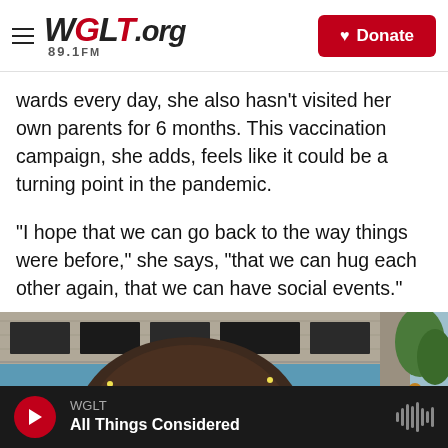WGLT.org 89.1FM | Donate
wards every day, she also hasn't visited her own parents for 6 months. This vaccination campaign, she adds, feels like it could be a turning point in the pandemic.
"I hope that we can go back to the way things were before," she says, "that we can hug each other again, that we can have social events."
[Figure (photo): Outdoor mural on side of concrete building showing masked healthcare workers depicted in a circular embrace illustration, painted in colorful style on blue background. Building facade visible above, trees on right side, pedestrian in colorful clothing visible at far right.]
WGLT | All Things Considered